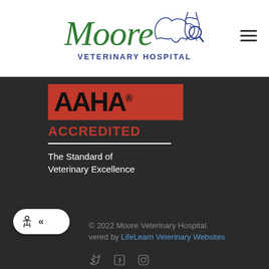[Figure (logo): Moore Veterinary Hospital logo with green italic cursive 'Moore' text, line drawing of a dog and cat, and 'VETERINARY HOSPITAL' in dark blue uppercase letters. Hamburger menu icon top right.]
[Figure (logo): AAHA Accredited logo - red background with bold black 'AAHA' letters, red 'ACCREDITED' text below, white divider line, white tagline 'The Standard of Veterinary Excellence']
© 2022 Moore Veterinary Hospital.
Powered by LifeLearn Veterinary Websites